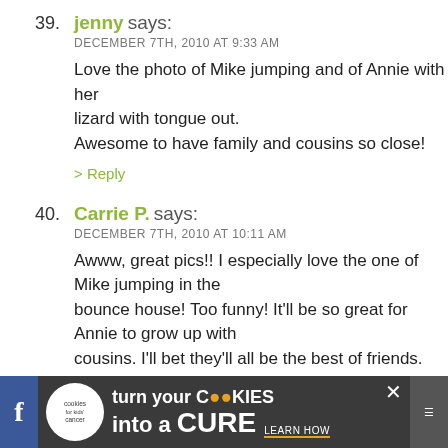39. jenny says: DECEMBER 7TH, 2010 AT 9:33 AM — Love the photo of Mike jumping and of Annie with her lizard with tongue out. Awesome to have family and cousins so close! > Reply
40. Carrie P. says: DECEMBER 7TH, 2010 AT 10:11 AM — Awww, great pics!! I especially love the one of Mike jumping in the bounce house! Too funny! It'll be so great for Annie to grow up with cousins. I'll bet they'll all be the best of friends. > Reply
41. Eric's Mommy says: DECEMBER 7TH, 2010 AT 12:16 PM — We have tons of pets, Reptiles, Amphibians, Dogs, Guinness... love the picture of Annie and the Bearded Dragon, I ha...
[Figure (screenshot): Advertisement banner at bottom: cookies for kids cancer - turn your cookies into a CURE LEARN HOW]